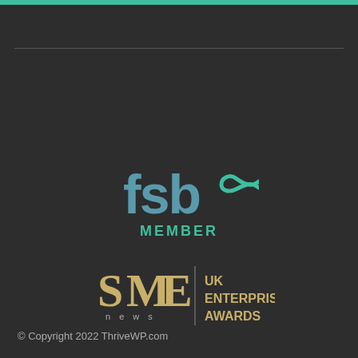[Figure (logo): FSB Member logo with teal 'fsb' text and infinity-like symbol, with 'MEMBER' in teal capitals below]
[Figure (logo): SME News UK Enterprise Awards logo with stylized SME letters and gold text reading 'UK ENTERPRISE AWARDS']
© Copyright 2022 ThriveWP.com